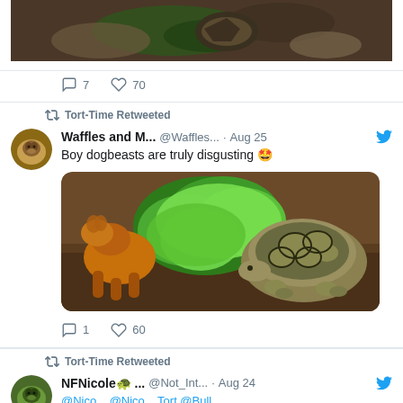[Figure (photo): Partial view of tortoise photo at top of page]
7   70 (reply and like counts for first tweet)
Tort-Time Retweeted
Waffles and M...  @Waffles...  · Aug 25
Boy dogbeasts are truly disgusting 🤯
[Figure (photo): Photo of a brown dog and a leopard tortoise next to green plants on mulch]
1   60 (reply and like counts)
Tort-Time Retweeted
NFNicole🐢 ...  @Not_Int...  · Aug 24